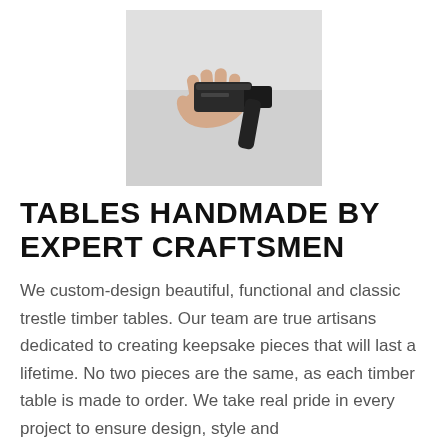[Figure (photo): A hand holding a power tool (appears to be a sander or similar woodworking tool), shown from above against a light background.]
TABLES HANDMADE BY EXPERT CRAFTSMEN
We custom-design beautiful, functional and classic trestle timber tables. Our team are true artisans dedicated to creating keepsake pieces that will last a lifetime. No two pieces are the same, as each timber table is made to order. We take real pride in every project to ensure design, style and